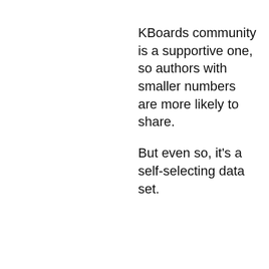KBoards community is a supportive one, so authors with smaller numbers are more likely to share. But even so, it's a self-selecting data set.